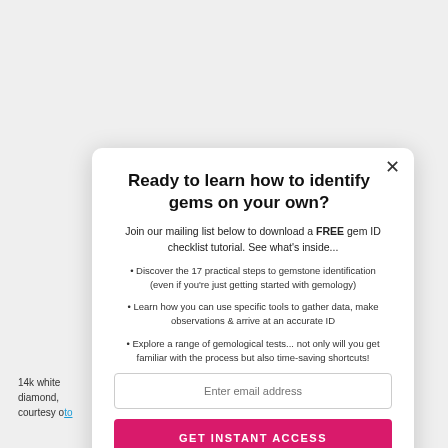Ready to learn how to identify gems on your own?
Join our mailing list below to download a FREE gem ID checklist tutorial. See what's inside...
Discover the 17 practical steps to gemstone identification (even if you're just getting started with gemology)
Learn how you can use specific tools to gather data, make observations & arrive at an accurate ID
Explore a range of gemological tests... not only will you get familiar with the process but also time-saving shortcuts!
Enter email address
GET INSTANT ACCESS
14k white diamond, courtesy